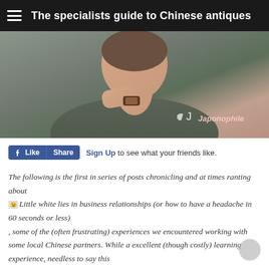The specialists guide to Chinese antiques
[Figure (photo): Person wearing dark green long-sleeve shirt, resting chin on hand, with a brown leather watch on wrist. Japonophile watermark in lower right corner.]
[Figure (other): Facebook Like and Share buttons, followed by 'Sign Up to see what your friends like.']
The following is the first in series of posts chronicling and at times ranting about [icon_wink] Little white lies in business relationships (or how to have a headache in 60 seconds or less) , some of the (often frustrating) experiences we encountered working with some local Chinese partners. While a excellent (though costly) learning experience, needless to say this